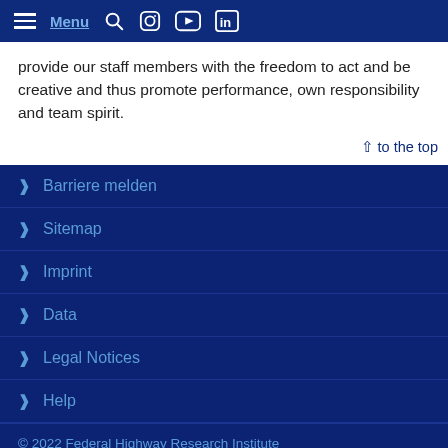Menu (navigation bar with Menu, search, Instagram, YouTube, LinkedIn icons)
provide our staff members with the freedom to act and be creative and thus promote performance, own responsibility and team spirit.
^ to the top
Barriere melden
Sitemap
Imprint
Data
Legal Notices
Help
© 2022 Federal Highway Research Institute